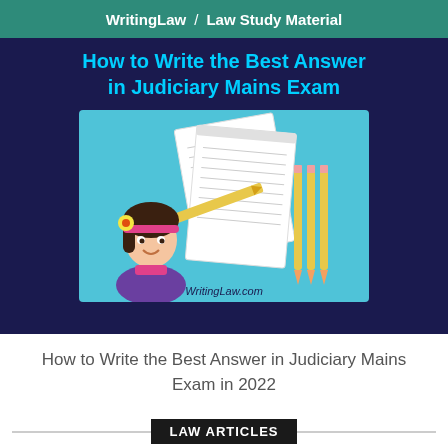WritingLaw / Law Study Material
[Figure (illustration): Banner image with dark navy background showing title 'How to Write the Best Answer in Judiciary Mains Exam' in cyan/blue text, with an illustration of a girl with a flower in her hair next to notebooks and pencils on a teal background. WritingLaw.com watermark on the illustration.]
How to Write the Best Answer in Judiciary Mains Exam in 2022
LAW ARTICLES
Regional Benches of Supreme Court